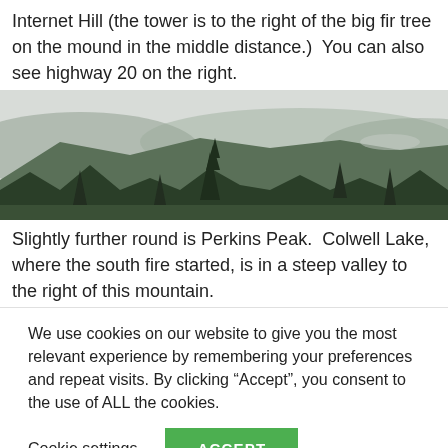Internet Hill (the tower is to the right of the big fir tree on the mound in the middle distance.)  You can also see highway 20 on the right.
[Figure (photo): Landscape photograph showing forested hills and mountains in the middle and far distance, with conifer trees in the foreground. The sky is overcast and pale. The scene appears to be a wide panoramic view from an elevated vantage point.]
Slightly further round is Perkins Peak.  Colwell Lake, where the south fire started, is in a steep valley to the right of this mountain.
We use cookies on our website to give you the most relevant experience by remembering your preferences and repeat visits. By clicking “Accept”, you consent to the use of ALL the cookies.
Cookie settings  ACCEPT